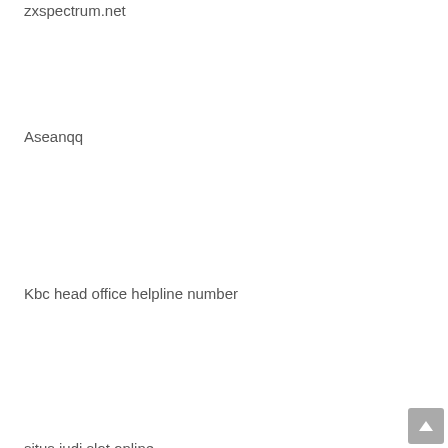zxspectrum.net
Aseanqq
Kbc head office helpline number
situs judi slot online
пинап казино
bandarqq
pin up casino
KBC WhatsApp number